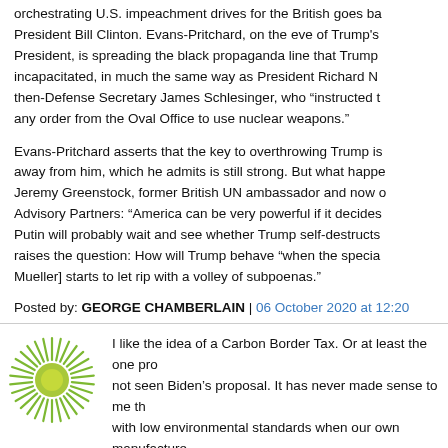orchestrating U.S. impeachment drives for the British goes ba President Bill Clinton. Evans-Pritchard, on the eve of Trump's President, is spreading the black propaganda line that Trump incapacitated, in much the same way as President Richard N then-Defense Secretary James Schlesinger, who "instructed  any order from the Oval Office to use nuclear weapons."
Evans-Pritchard asserts that the key to overthrowing Trump is away from him, which he admits is still strong. But what happe Jeremy Greenstock, former British UN ambassador and now o Advisory Partners: "America can be very powerful if it decides Putin will probably wait and see whether Trump self-destructs raises the question: How will Trump behave "when the specia Mueller] starts to let rip with a volley of subpoenas."
Posted by: GEORGE CHAMBERLAIN | 06 October 2020 at 12:20
[Figure (logo): Green sunburst logo with yellow-green radiating lines and a circular center on a white background]
I like the idea of a Carbon Border Tax. Or at least the one pro not seen Biden's proposal. It has never made sense to me th with low environmental standards when our own manufacture
But unless Biden can carry Democratic Senatorial challenge it ain't gonna happen. It will be stalled in the Senate. There is